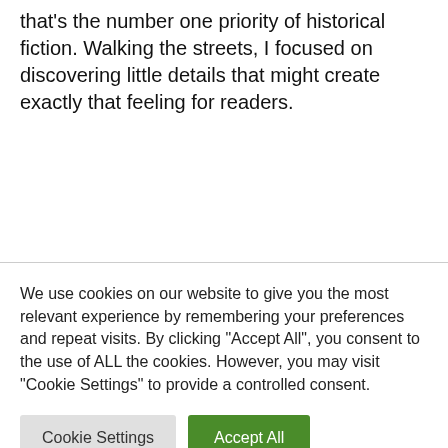that's the number one priority of historical fiction. Walking the streets, I focused on discovering little details that might create exactly that feeling for readers.
We use cookies on our website to give you the most relevant experience by remembering your preferences and repeat visits. By clicking "Accept All", you consent to the use of ALL the cookies. However, you may visit "Cookie Settings" to provide a controlled consent.
Cookie Settings
Accept All